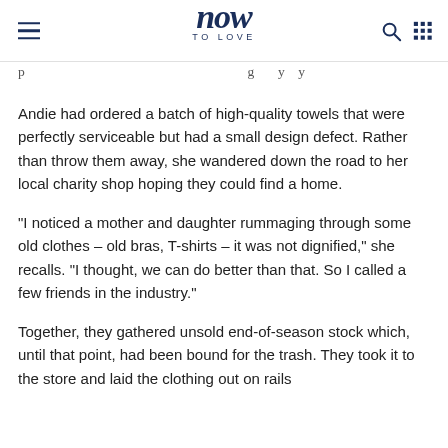now TO LOVE
Andie had ordered a batch of high-quality towels that were perfectly serviceable but had a small design defect. Rather than throw them away, she wandered down the road to her local charity shop hoping they could find a home.
"I noticed a mother and daughter rummaging through some old clothes – old bras, T-shirts – it was not dignified," she recalls. "I thought, we can do better than that. So I called a few friends in the industry."
Together, they gathered unsold end-of-season stock which, until that point, had been bound for the trash. They took it to the store and laid the clothing out on rails